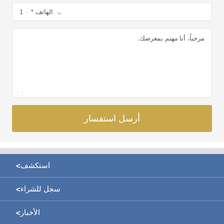1 · * الهاتف
مرحباً، أنا مهتم بمعرضك.
أرسل استفسار
> استكشف
> سجل للشراء
> الأخبار
> مواعيد المعارض